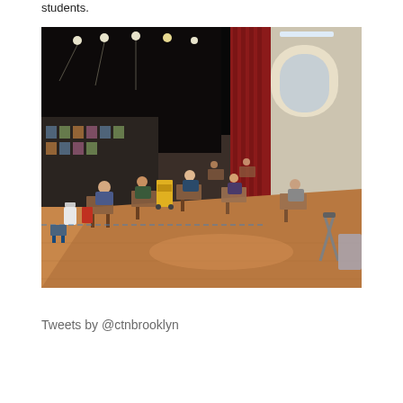students.
[Figure (photo): A school gymnasium converted into a classroom with students wearing masks seated at individual desks spread apart for social distancing. The large room has a dark ceiling with stage lighting, dark curtains, and brick walls. Students are working at their desks on a wooden floor.]
Tweets by @ctnbrooklyn